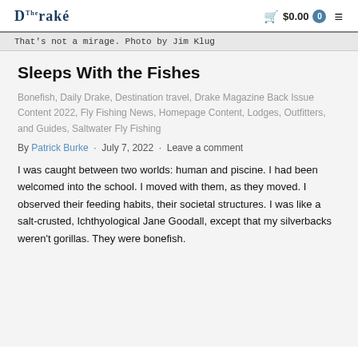The Drake  $0.00  0  ☰
That's not a mirage. Photo by Jim Klug
Sleeps With the Fishes
Bonefish, Daily Drake, Destination travel, Drake Magazine Back Issue Content 2022, Fly Fishing News, Homepage Content, Lodges, Outfitters, and Guides, Saltwater Fly Fishing
By Patrick Burke · July 7, 2022 · Leave a comment
I was caught between two worlds: human and piscine. I had been welcomed into the school. I moved with them, as they moved. I observed their feeding habits, their societal structures. I was like a salt-crusted, Ichthyological Jane Goodall, except that my silverbacks weren't gorillas. They were bonefish.